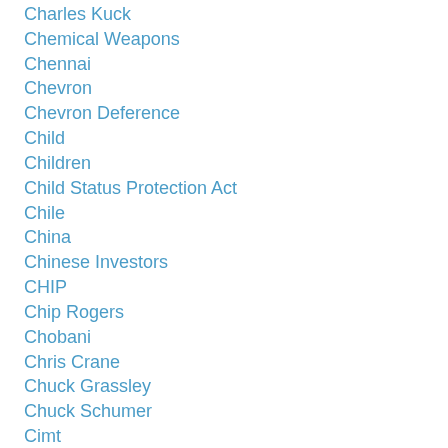Charles Kuck
Chemical Weapons
Chennai
Chevron
Chevron Deference
Child
Children
Child Status Protection Act
Chile
China
Chinese Investors
CHIP
Chip Rogers
Chobani
Chris Crane
Chuck Grassley
Chuck Schumer
Cimt
Cir
Cis
Cis Ombudsman Second Annual Conference